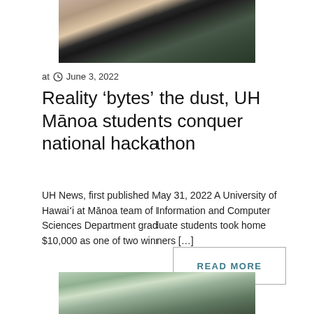[Figure (photo): Two people sitting with a robot between them in a room]
at ○ June 3, 2022
Reality ‘bytes’ the dust, UH Mānoa students conquer national hackathon
UH News, first published May 31, 2022 A University of Hawaiʻi at Mānoa team of Information and Computer Sciences Department graduate students took home $10,000 as one of two winners […]
READ MORE
[Figure (photo): Outdoor landscape scene with greenery and water]